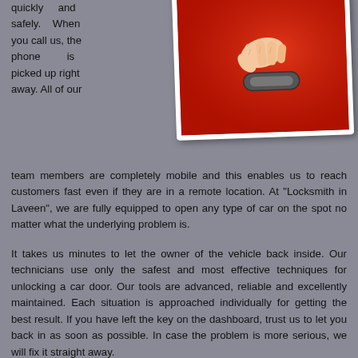quickly and safely. When you call us, the phone is picked up right away. All of our team members are completely mobile and this enables us to reach customers fast even if they are in a remote location. At "Locksmith in Laveen", we are fully equipped to open any type of car on the spot no matter what the underlying problem is.
[Figure (photo): A hand reaching for a red car door handle, photo with white border tilted slightly]
It takes us minutes to let the owner of the vehicle back inside. Our technicians use only the safest and most effective techniques for unlocking a car door. Our tools are advanced, reliable and excellently maintained. Each situation is approached individually for getting the best result. If you have left the key on the dashboard, trust us to let you back in as soon as possible. In case the problem is more serious, we will fix it straight away.
If the cause of the car lockout is key breakage, loss or theft, we will replace the missing device with a new one. Our key cutting equipment is advanced enough to produce any type of blade. The service includes programming of the transponder key to ensure that you will be able to start using it as soon as it is delivered to you. It is perfectly possible for us to implement further measures for protecting your vehicle from thieves. Our technician can rekey the ignition lock for you to ensure that the old key can never be used for starting the car. Trust us to complete